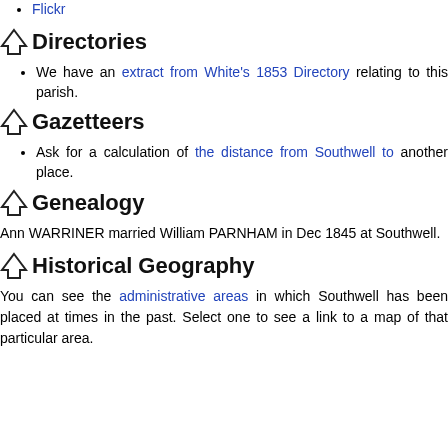Flickr
Directories
We have an extract from White's 1853 Directory relating to this parish.
Gazetteers
Ask for a calculation of the distance from Southwell to another place.
Genealogy
Ann WARRINER married William PARNHAM in Dec 1845 at Southwell.
Historical Geography
You can see the administrative areas in which Southwell has been placed at times in the past. Select one to see a link to a map of that particular area.